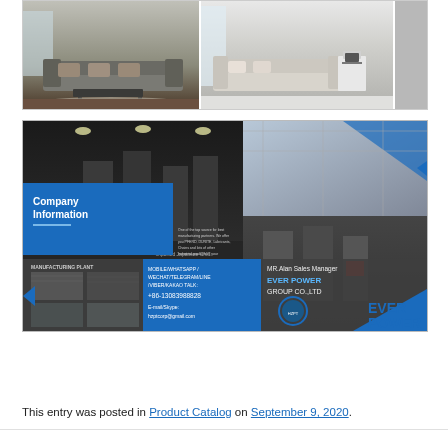[Figure (photo): Top collage: interior room photos showing sofas and living areas, with EVER POWER text on right side]
[Figure (photo): Company Information banner showing factory/manufacturing plant images, contact details for MR.Alan Sales Manager, EVER POWER GROUP CO.,LTD, phone +86-13083988828, email hzptcorp@gmail.com]
This entry was posted in Product Catalog on September 9, 2020.